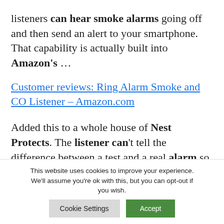listeners can hear smoke alarms going off and then send an alert to your smartphone. That capability is actually built into Amazon's ...
Customer reviews: Ring Alarm Smoke and CO Listener – Amazon.com
Added this to a whole house of Nest Protects. The listener can't tell the difference between a test and a real alarm so you'll have to put it into test mode ...
This website uses cookies to improve your experience. We'll assume you're ok with this, but you can opt-out if you wish.